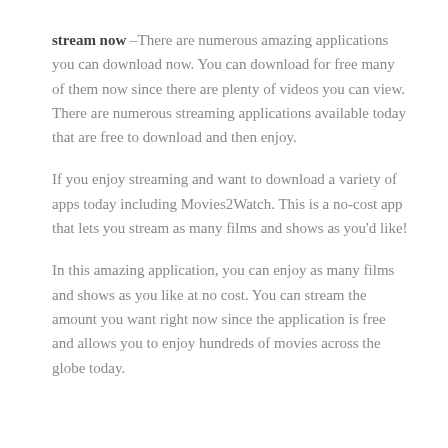stream now –There are numerous amazing applications you can download now. You can download for free many of them now since there are plenty of videos you can view. There are numerous streaming applications available today that are free to download and then enjoy.
If you enjoy streaming and want to download a variety of apps today including Movies2Watch. This is a no-cost app that lets you stream as many films and shows as you'd like!
In this amazing application, you can enjoy as many films and shows as you like at no cost. You can stream the amount you want right now since the application is free and allows you to enjoy hundreds of movies across the globe today.